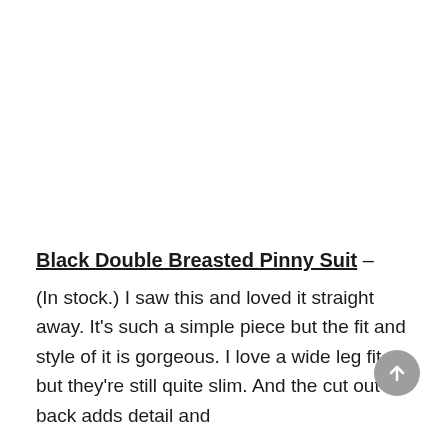Black Double Breasted Pinny Suit –
(In stock.) I saw this and loved it straight away. It's such a simple piece but the fit and style of it is gorgeous. I love a wide leg fit but they're still quite slim. And the cut out back adds detail and